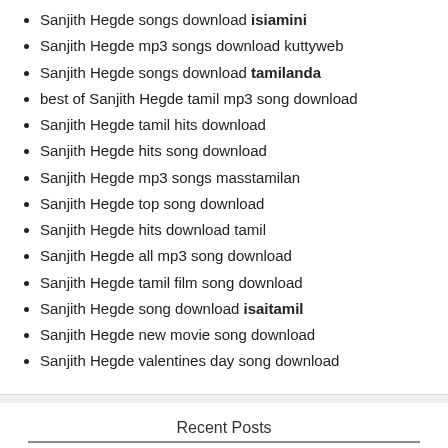Sanjith Hegde songs download isiamini
Sanjith Hegde mp3 songs download kuttyweb
Sanjith Hegde songs download tamilanda
best of Sanjith Hegde tamil mp3 song download
Sanjith Hegde tamil hits download
Sanjith Hegde hits song download
Sanjith Hegde mp3 songs masstamilan
Sanjith Hegde top song download
Sanjith Hegde hits download tamil
Sanjith Hegde all mp3 song download
Sanjith Hegde tamil film song download
Sanjith Hegde song download isaitamil
Sanjith Hegde new movie song download
Sanjith Hegde valentines day song download
Recent Posts
Play pin-up casino aviator online
The Benefits of Working with a Top SEO Service Provider in the USA
Bimbilikki Pilapi